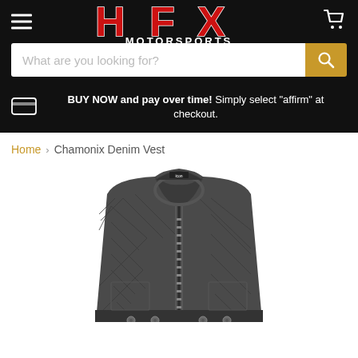[Figure (logo): HFX Motorsports logo with red stylized text on black background]
What are you looking for?
BUY NOW and pay over time! Simply select "affirm" at checkout.
Home > Chamonix Denim Vest
[Figure (photo): Dark grey quilted denim vest with zipper front and round collar, ICON brand label visible]